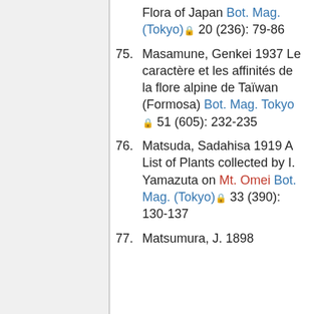Flora of Japan Bot. Mag. (Tokyo) 20 (236): 79-86
75. Masamune, Genkei 1937 Le caractère et les affinités de la flore alpine de Taïwan (Formosa) Bot. Mag. Tokyo 51 (605): 232-235
76. Matsuda, Sadahisa 1919 A List of Plants collected by I. Yamazuta on Mt. Omei Bot. Mag. (Tokyo) 33 (390): 130-137
77. Matsumura, J. 1898